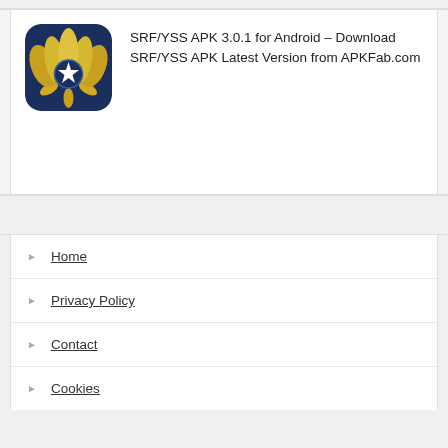[Figure (logo): SRF/YSS app icon: dark blue rounded square with a golden lotus/tulip flower and a white star in the center]
SRF/YSS APK 3.0.1 for Android – Download SRF/YSS APK Latest Version from APKFab.com
Home
Privacy Policy
Contact
Cookies